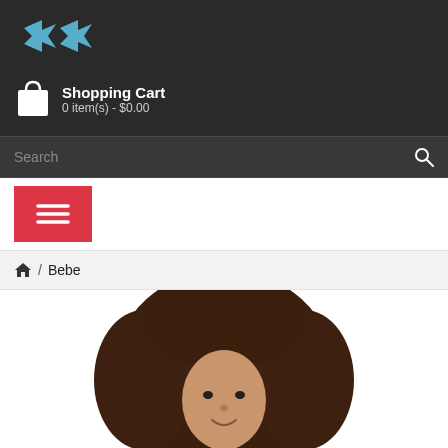[Figure (logo): Blue puzzle-piece or snowflake-style logo on dark background]
Shopping Cart
0 item(s) - $0.00
Search
[Figure (other): Red square menu button with three horizontal lines (hamburger icon)]
/ Bebe
[Figure (photo): Woman with large curly brown hair, face visible from forehead to chin, white background]